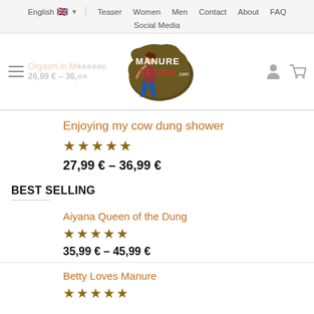English | Teaser Women Men Contact About FAQ | Social Media
[Figure (logo): Manure Fetish .com logo with female figure]
Orgasm in M... [ghost title] 26,99 € – 36,... [ghost price]
Enjoying my cow dung shower
★★★★★
27,99 € – 36,99 €
BEST SELLING
Aiyana Queen of the Dung
★★★★★
35,99 € – 45,99 €
Betty Loves Manure
★★★★★